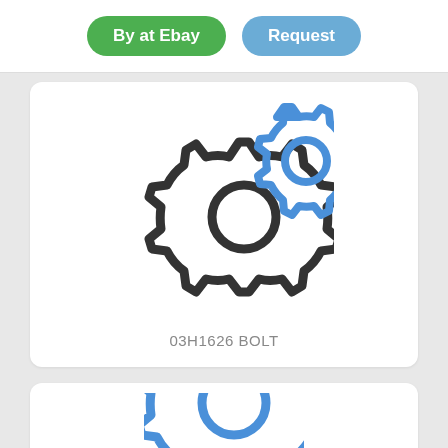[Figure (screenshot): Two buttons at the top: green 'By at Ebay' and blue 'Request']
[Figure (illustration): Two interlocking gear icons, one dark/black and one blue, representing settings or parts]
03H1626 BOLT
[Figure (illustration): Partial view of a blue gear icon at the bottom of the page, partially cut off]